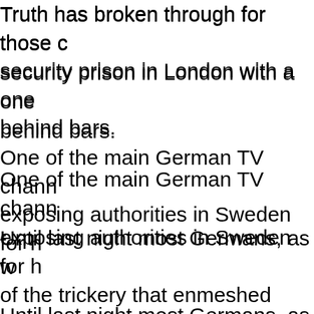Truth has broken through for those ... security prison in London with a one ... behind bars.
One of the main German TV chann... exposing authorities in Sweden for h...
Until last night most Germans, as we... of the trickery that enmeshed Assan... woven by accomplices in vassal stat...
ZDF punctured that web by intervie... Sendung" segment (in German) is ... ZDF "Heute Journal" (minute 25:49...